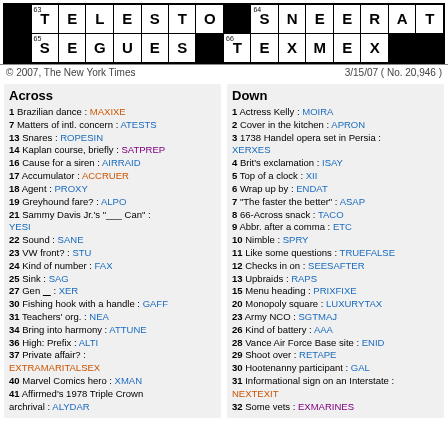[Figure (other): Crossword puzzle grid showing bottom rows with clue numbers 63-66. Row with 63:TELESTO (black square) 64:SNEERAT. Row with 65:SEGUES (black square) 66:TEXMEX (black square).]
© 2007, The New York Times    3/15/07 ( No. 20,946 )
Across
1 Brazilian dance : MAXIXE
7 Matters of intl. concern : ATESTS
13 Snares : ROPESIN
14 Kaplan course, briefly : SATPREP
16 Cause for a siren : AIRRAID
17 Accumulator : ACCRUER
18 Agent : PROXY
19 Greyhound fare? : ALPO
21 Sammy Davis Jr.'s "___ Can" : YESI
22 Sound : SANE
23 VW front? : STU
24 Kind of number : FAX
25 Sink : SAG
27 Gen ___ : XER
30 Fishing hook with a handle : GAFF
31 Teachers' org. : NEA
34 Bring into harmony : ATTUNE
36 High: Prefix : ALTI
37 Private affair? : EXTRAMARITALSEX
40 Marvel Comics hero : XMAN
41 Affirmed's 1978 Triple Crown archrival : ALYDAR
Down
1 Actress Kelly : MOIRA
2 Cover in the kitchen : APRON
3 1738 Handel opera set in Persia : XERXES
4 Brit's exclamation : ISAY
5 Top of a clock : XII
6 Wrap up by : ENDAT
7 "The faster the better" : ASAP
8 66-Across snack : TACO
9 Abbr. after a comma : ETC
10 Nimble : SPRY
11 Like some questions : TRUEFALSE
12 Checks in on : SEESAFTER
13 Upbraids : RAPS
15 Menu heading : PRIXFIXE
20 Monopoly square : LUXURYTAX
23 Army NCO : SGTMAJ
26 Kind of battery : AAA
28 Vance Air Force Base site : ENID
29 Shoot over : RETAPE
30 Hootenanny participant : GAL
31 Informational sign on an Interstate : NEXTEXIT
32 Some vets : EXMARINES